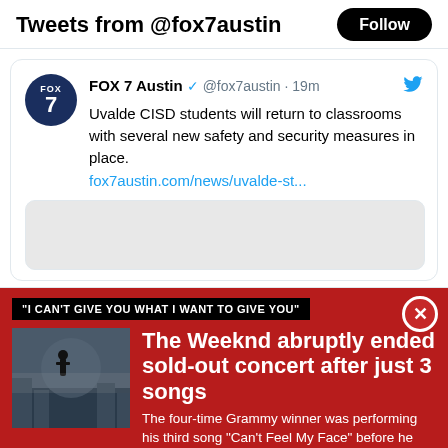Tweets from @fox7austin
FOX 7 Austin @fox7austin · 19m
Uvalde CISD students will return to classrooms with several new safety and security measures in place.
fox7austin.com/news/uvalde-st...
[Figure (screenshot): Embedded tweet image placeholder]
"I CAN'T GIVE YOU WHAT I WANT TO GIVE YOU"
The Weeknd abruptly ended sold-out concert after just 3 songs
The four-time Grammy winner was performing his third song "Can't Feel My Face" before he abruptly stopped his show at SoFi Stadium in Inglewood, California.